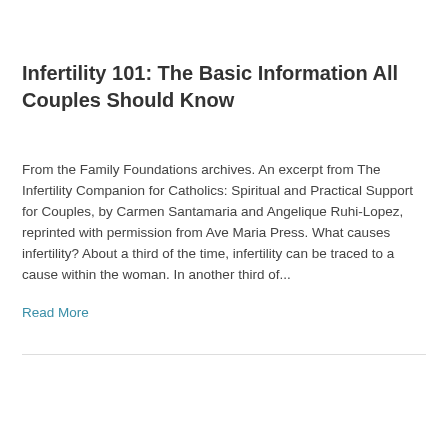Infertility 101: The Basic Information All Couples Should Know
From the Family Foundations archives. An excerpt from The Infertility Companion for Catholics: Spiritual and Practical Support for Couples, by Carmen Santamaria and Angelique Ruhi-Lopez, reprinted with permission from Ave Maria Press. What causes infertility? About a third of the time, infertility can be traced to a cause within the woman. In another third of...
Read More